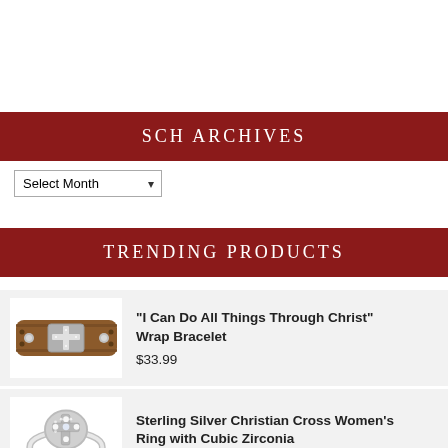SCH ARCHIVES
Select Month
TRENDING PRODUCTS
[Figure (photo): Brown leather wrap bracelet with silver cross and studs]
"I Can Do All Things Through Christ" Wrap Bracelet
$33.99
[Figure (photo): Sterling silver ring with cubic zirconia cross design]
Sterling Silver Christian Cross Women's Ring with Cubic Zirconia